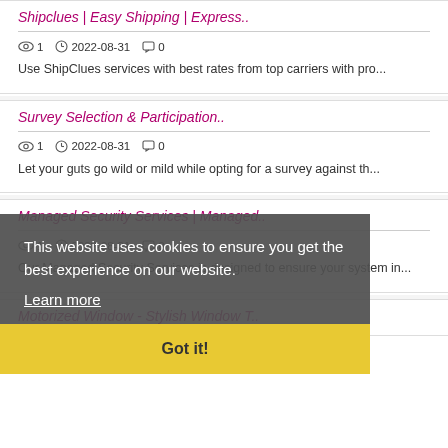Shipclues | Easy Shipping | Express..
👁 1  🕐 2022-08-31  💬 0
Use ShipClues services with best rates from top carriers with pro...
Survey Selection & Participation..
👁 1  🕐 2022-08-31  💬 0
Let your guts go wild or mild while opting for a survey against th...
Managed Security Services | Managed..
👁 1  🕐 2022-08-31  💬 0
Our Managed Security Services is designed to ensure your system in...
Motorized Window - Stylish Window T..
This website uses cookies to ensure you get the best experience on our website.
Learn more
Got it!